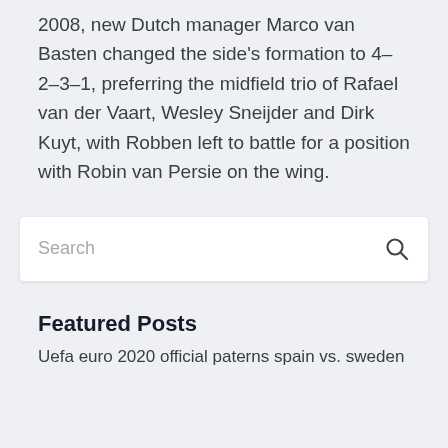2008, new Dutch manager Marco van Basten changed the side's formation to 4–2–3–1, preferring the midfield trio of Rafael van der Vaart, Wesley Sneijder and Dirk Kuyt, with Robben left to battle for a position with Robin van Persie on the wing.
[Figure (other): Search input box with placeholder text 'Search' and a magnifying glass icon on the right]
Featured Posts
Uefa euro 2020 official paterns spain vs. sweden